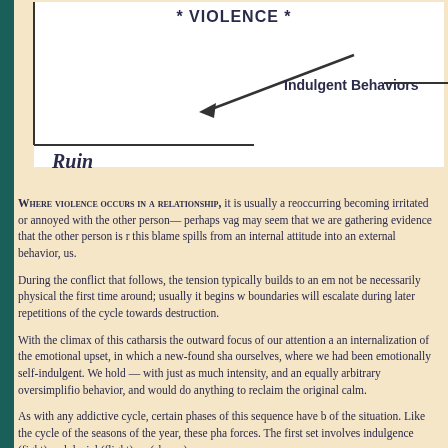[Figure (other): Diagram showing 'VIOLENCE' label at top and 'Indulgent Behaviors' arrow pointing left, with 'Ruin' label in italic below, part of a cycle diagram]
WHERE VIOLENCE OCCURS IN A RELATIONSHIP, it is usually a reoccurring becoming irritated or annoyed with the other person— perhaps vag may seem that we are gathering evidence that the other person is r this blame spills from an internal attitude into an external behavior, us.
During the conflict that follows, the tension typically builds to an em not be necessarily physical the first time around; usually it begins w boundaries will escalate during later repetitions of the cycle towards destruction.
With the climax of this catharsis the outward focus of our attention a an internalization of the emotional upset, in which a new-found sha ourselves, where we had been emotionally self-indulgent. We hold — with just as much intensity, and an equally arbitrary oversimplifio behavior, and would do anything to reclaim the original calm.
As with any addictive cycle, certain phases of this sequence have b of the situation. Like the cycle of the seasons of the year, these pha forces. The first set involves indulgence (fight) and denial (flight), w (shame).